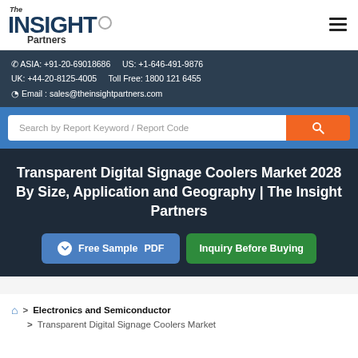The INSIGHT Partners
ASIA: +91-20-69018686   US: +1-646-491-9876
UK: +44-20-8125-4005   Toll Free: 1800 121 6455
Email : sales@theinsightpartners.com
Search by Report Keyword / Report Code
Transparent Digital Signage Coolers Market 2028 By Size, Application and Geography | The Insight Partners
Free Sample PDF
Inquiry Before Buying
> Electronics and Semiconductor
> Transparent Digital Signage Coolers Market